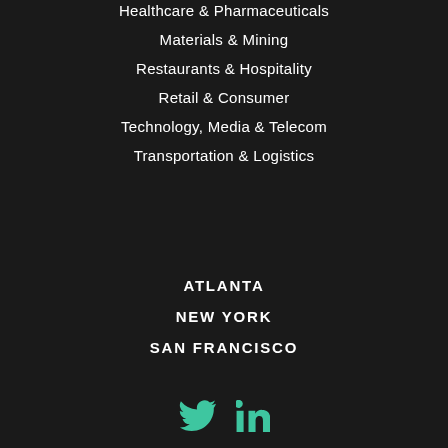Healthcare & Pharmaceuticals
Materials & Mining
Restaurants & Hospitality
Retail & Consumer
Technology, Media & Telecom
Transportation & Logistics
ATLANTA
NEW YORK
SAN FRANCISCO
[Figure (illustration): Twitter and LinkedIn social media icons in teal/green color]